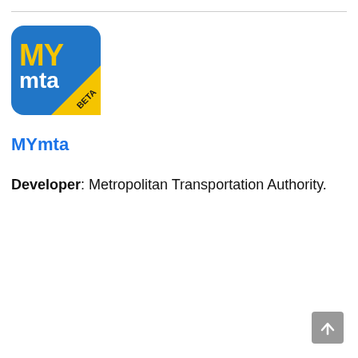[Figure (logo): MYmta app logo — blue background with yellow 'MY' text, white 'mta' text, and a yellow diagonal band with 'BETA' text in dark letters]
MYmta
Developer: Metropolitan Transportation Authority.